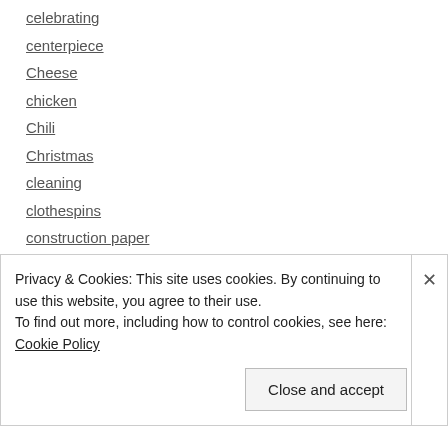celebrating
centerpiece
Cheese
chicken
Chili
Christmas
cleaning
clothespins
construction paper
Crafts
creativity
cupcakes
DC
Privacy & Cookies: This site uses cookies. By continuing to use this website, you agree to their use.
To find out more, including how to control cookies, see here: Cookie Policy
Close and accept